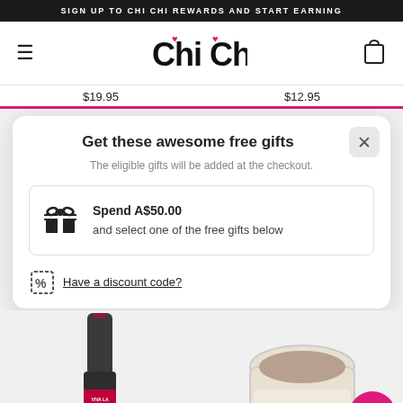SIGN UP TO CHI CHI REWARDS AND START EARNING
[Figure (logo): Chi Chi cosmetics logo with pink lips accents]
$19.95   $12.95
Get these awesome free gifts
The eligible gifts will be added at the checkout.
Spend A$50.00 and select one of the free gifts below
Have a discount code?
[Figure (photo): Chi Chi Viva La lipstick product below modal]
[Figure (photo): Chi Chi cream/brow product below modal]